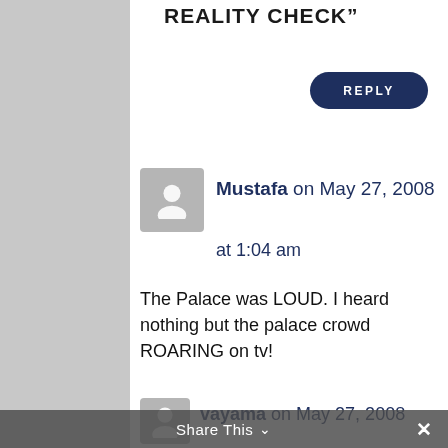REALITY CHECK"
REPLY
Mustafa on May 27, 2008
at 1:04 am
The Palace was LOUD. I heard nothing but the palace crowd ROARING on tv!

Good stuff!
REPLY
vayama on May 27, 2008
Share This